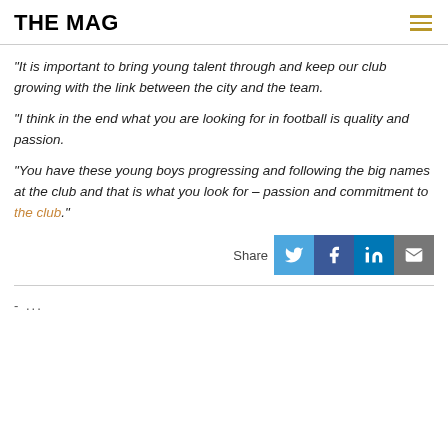THE MAG
“It is important to bring young talent through and keep our club growing with the link between the city and the team.

“I think in the end what you are looking for in football is quality and passion.

“You have these young boys progressing and following the big names at the club and that is what you look for – passion and commitment to the club.”
[Figure (infographic): Share buttons row with Twitter (blue), Facebook (dark blue), LinkedIn (blue), and email (grey) icons]
- ...